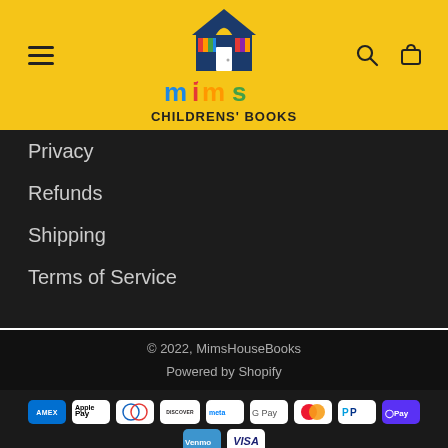[Figure (logo): Mims Children's Books logo with house and colorful letters on yellow header background]
Privacy
Refunds
Shipping
Terms of Service
© 2022, MimsHouseBooks
Powered by Shopify
[Figure (other): Payment method icons: American Express, Apple Pay, Diners Club, Discover, Meta Pay, Google Pay, Mastercard, PayPal, Shop Pay, Venmo, Visa]